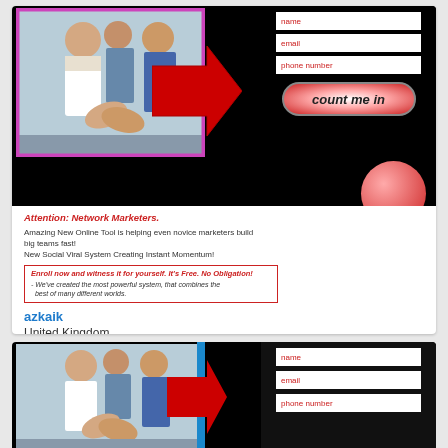[Figure (screenshot): Marketing landing page screenshot showing people shaking hands, a registration form with name/email/phone fields and 'count me in' button, red arrow pointing to form, red circles decoration, with text about network marketing tool]
Attention: Network Marketers.
Amazing New Online Tool is helping even novice marketers build big teams fast!
New Social Viral System Creating Instant Momentum!
Enroll now and witness it for yourself. It's Free. No Obligation!
- We've created the most powerful system, that combines the best of many different worlds.
azkaik
United Kingdom
3.0 ★★★☆☆ ♡ 0
[Figure (screenshot): Partial second card showing same marketing page image with name/email/phone number form fields on black background with blue vertical strip]